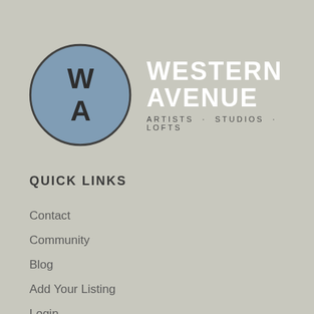[Figure (logo): Western Avenue Artists Studios Lofts logo: a blue circle with W and A monogram on the left, and bold white text 'WESTERN AVENUE' with subtitle 'ARTISTS · STUDIOS · LOFTS' on the right]
QUICK LINKS
Contact
Community
Blog
Add Your Listing
Login